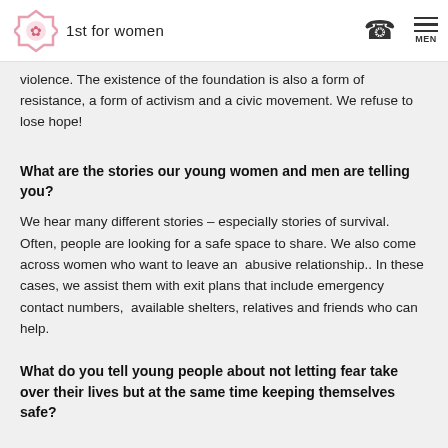1st for women
violence. The existence of the foundation is also a form of resistance, a form of activism and a civic movement. We refuse to lose hope!
What are the stories our young women and men are telling you?
We hear many different stories – especially stories of survival. Often, people are looking for a safe space to share. We also come across women who want to leave an  abusive relationship.. In these cases, we assist them with exit plans that include emergency contact numbers,  available shelters, relatives and friends who can help.
What do you tell young people about not letting fear take over their lives but at the same time keeping themselves safe?